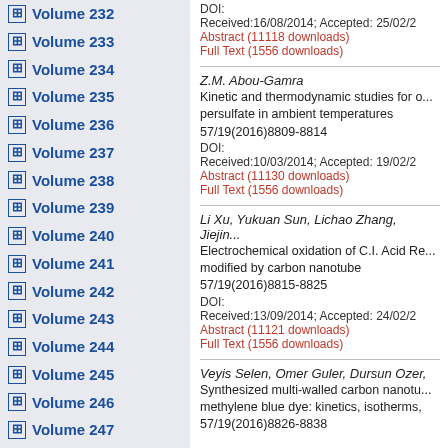Volume 232
Volume 233
Volume 234
Volume 235
Volume 236
Volume 237
Volume 238
Volume 239
Volume 240
Volume 241
Volume 242
Volume 243
Volume 244
Volume 245
Volume 246
Volume 247
Volume 248
Volume 249
Volume 250
Volume 251
Volume 252
Volume 253
Volume 254
Volume 255
Volume 256
DOI:
Received:16/08/2014; Accepted: 25/02/2...
Abstract (11118 downloads)
Full Text (1556 downloads)
Z.M. Abou-Gamra
Kinetic and thermodynamic studies for o... persulfate in ambient temperatures
57/19(2016)8809-8814
DOI:
Received:10/03/2014; Accepted: 19/02/2...
Abstract (11130 downloads)
Full Text (1556 downloads)
Li Xu, Yukuan Sun, Lichao Zhang, Jiejin...
Electrochemical oxidation of C.I. Acid Re... modified by carbon nanotube
57/19(2016)8815-8825
DOI:
Received:13/09/2014; Accepted: 24/02/2...
Abstract (11121 downloads)
Full Text (1556 downloads)
Veyis Selen, Omer Guler, Dursun Ozer,...
Synthesized multi-walled carbon nanotu... methylene blue dye: kinetics, isotherms,...
57/19(2016)8826-8838